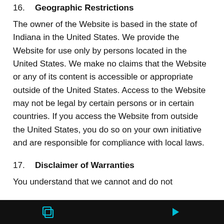16.  Geographic Restrictions
The owner of the Website is based in the state of Indiana in the United States. We provide the Website for use only by persons located in the United States. We make no claims that the Website or any of its content is accessible or appropriate outside of the United States. Access to the Website may not be legal by certain persons or in certain countries. If you access the Website from outside the United States, you do so on your own initiative and are responsible for compliance with local laws.
17.  Disclaimer of Warranties
You understand that we cannot and do not guarantee or warrant that files available for...